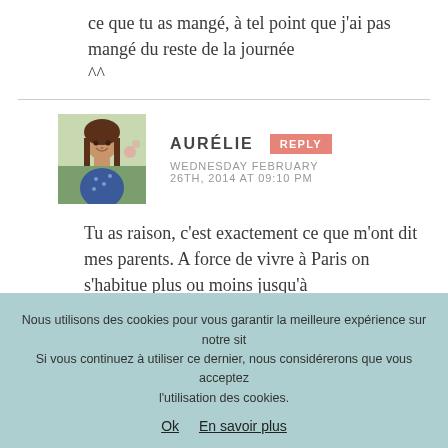ce que tu as mangé, à tel point que j'ai pas mangé du reste de la journée
^^
[Figure (photo): Avatar photo of Aurélie, a woman with long brown hair]
AURÉLIE
REPLY
WEDNESDAY FEBRUARY 26TH, 2014 AT 09:10 PM
Tu as raison, c'est exactement ce que m'ont dit mes parents. A force de vivre à Paris on s'habitue plus ou moins jusqu'à
Nous utilisons des cookies pour vous garantir la meilleure expérience sur notre sit Si vous continuez à utiliser ce dernier, nous considérerons que vous acceptez l'utilisation des cookies.
Ok   En savoir plus